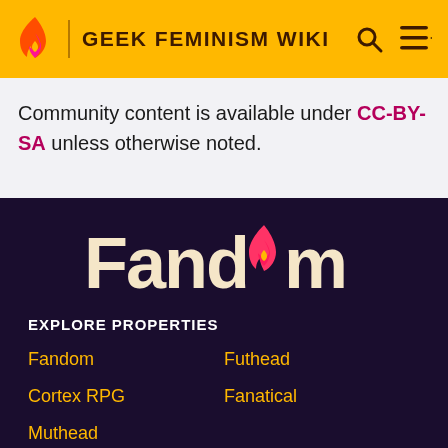GEEK FEMINISM WIKI
Community content is available under CC-BY-SA unless otherwise noted.
[Figure (logo): Fandom logo with flame and heart icon, white/cream text on dark purple background]
EXPLORE PROPERTIES
Fandom
Futhead
Cortex RPG
Fanatical
Muthead